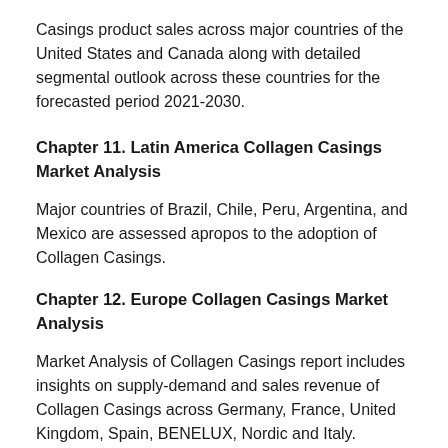Casings product sales across major countries of the United States and Canada along with detailed segmental outlook across these countries for the forecasted period 2021-2030.
Chapter 11. Latin America Collagen Casings Market Analysis
Major countries of Brazil, Chile, Peru, Argentina, and Mexico are assessed apropos to the adoption of Collagen Casings.
Chapter 12. Europe Collagen Casings Market Analysis
Market Analysis of Collagen Casings report includes insights on supply-demand and sales revenue of Collagen Casings across Germany, France, United Kingdom, Spain, BENELUX, Nordic and Italy.